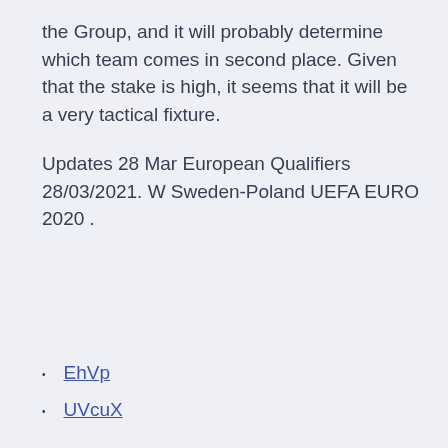the Group, and it will probably determine which team comes in second place. Given that the stake is high, it seems that it will be a very tactical fixture.

Updates 28 Mar European Qualifiers 28/03/2021. W Sweden-Poland UEFA EURO 2020 .
EhVp
UVcuX